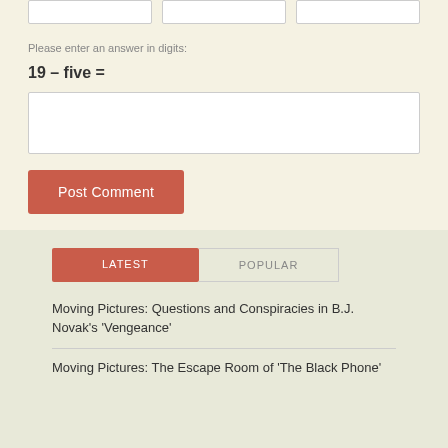Please enter an answer in digits:
19 – five =
Post Comment
LATEST
POPULAR
Moving Pictures: Questions and Conspiracies in B.J. Novak's 'Vengeance'
Moving Pictures: The Escape Room of 'The Black Phone'